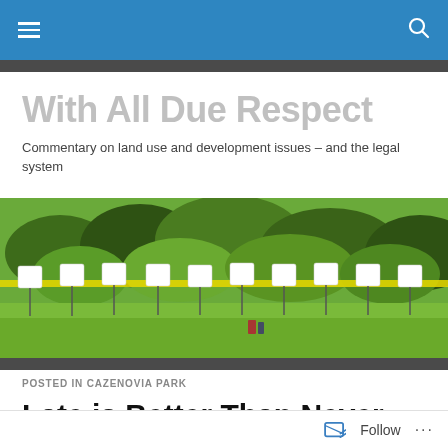With All Due Respect navigation bar
With All Due Respect
Commentary on land use and development issues – and the legal system
[Figure (photo): Row of white pinwheel signs on green grass in front of shrubs, with yellow caution tape in the background]
POSTED IN CAZENOVIA PARK
Late is Better Than Never
Follow